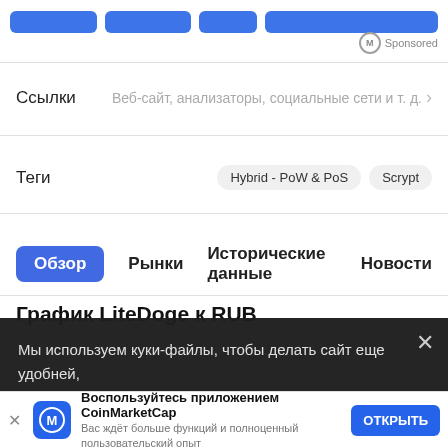[Figure (screenshot): Blue ad button bar for CoinMarketCap sponsored ads]
Sponsored
Ссылки   Веб-сайт, анализаторы, социальные сети и т. д. >
Теги   Hybrid - PoW & PoS   Scrypt
Обзор   Рынки   Исторические данные   Новости
График LiteDoge к RUB
Мы используем куки-файлы, чтобы делать сайт еще удобней, анализировать его посещаемость, персонализировать контент, а также демонстрировать адресную рекламу. Узнайте о том, как мы используем куки-файлы и как вы можете их контролировать, из
Воспользуйтесь приложением CoinMarketCap  Вас ждёт больше функций и полноценный пользовательский опыт